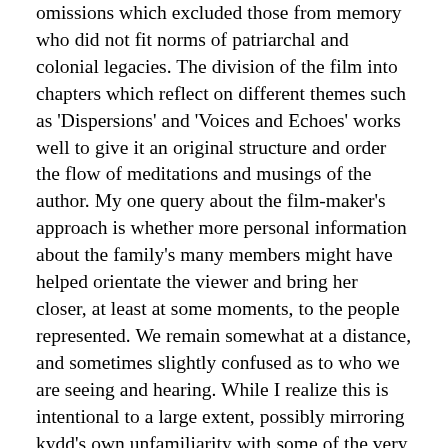omissions which excluded those from memory who did not fit norms of patriarchal and colonial legacies. The division of the film into chapters which reflect on different themes such as 'Dispersions' and 'Voices and Echoes' works well to give it an original structure and order the flow of meditations and musings of the author. My one query about the film-maker's approach is whether more personal information about the family's many members might have helped orientate the viewer and bring her closer, at least at some moments, to the people represented. We remain somewhat at a distance, and sometimes slightly confused as to who we are seeing and hearing. While I realize this is intentional to a large extent, possibly mirroring kydd's own unfamiliarity with some of the very large, dispersed clan (as she admits in the voice-over), it could be said to underline how viewers from outside the